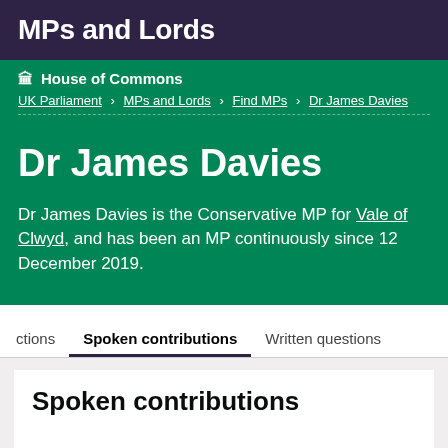MPs and Lords
House of Commons
UK Parliament > MPs and Lords > Find MPs > Dr James Davies
Dr James Davies
Dr James Davies is the Conservative MP for Vale of Clwyd, and has been an MP continuously since 12 December 2019.
Spoken contributions
Spoken contributions